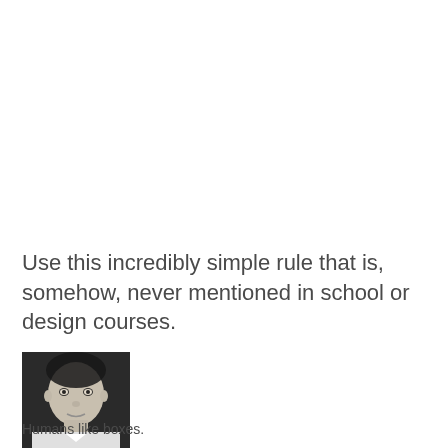Use this incredibly simple rule that is, somehow, never mentioned in school or design courses.
[Figure (photo): Small black and white portrait photo of a man's face]
Humans like boxes.